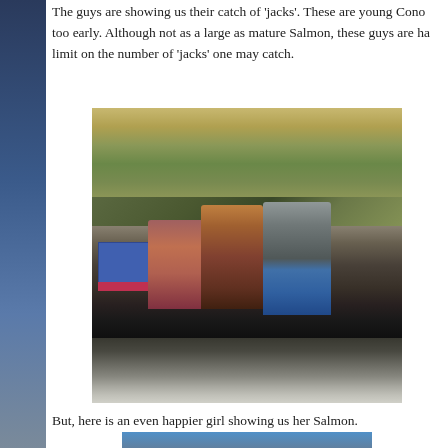The guys are showing us their catch of 'jacks'. These are young Cono... too early. Although not as a large as mature Salmon, these guys are ha... limit on the number of 'jacks' one may catch.
[Figure (photo): Three people on a fishing boat on a river, holding up small salmon (jacks). Rocky hillside with vegetation in the background.]
But, here is an even happier girl showing us her Salmon.
[Figure (photo): Partial photo at bottom of page showing trees and sky, beginning of next image.]